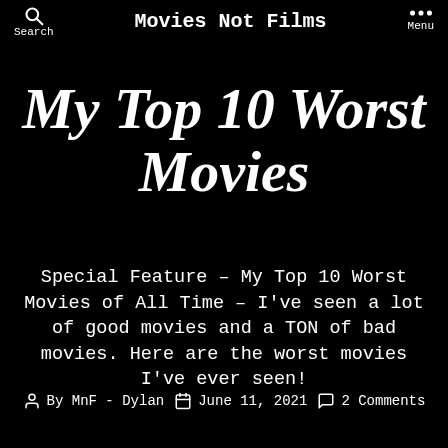Search | Movies Not Films | Menu
My Top 10 Worst Movies
Special Feature – My Top 10 Worst Movies of All Time – I've seen a lot of good movies and a TON of bad movies. Here are the worst movies I've ever seen!
By MnF - Dylan   June 11, 2021   2 Comments